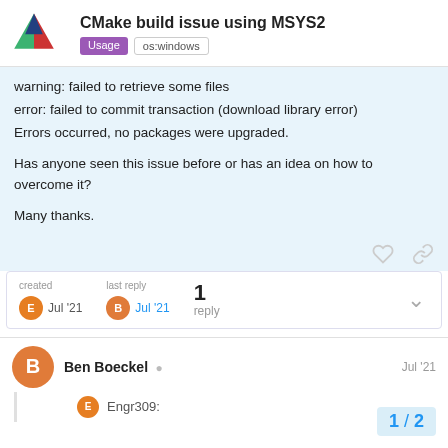CMake build issue using MSYS2
warning: failed to retrieve some files
error: failed to commit transaction (download library error)
Errors occurred, no packages were upgraded.

Has anyone seen this issue before or has an idea on how to overcome it?

Many thanks.
created Jul '21   last reply Jul '21   1 reply
Ben Boeckel   Jul '21
Engr309:
1 / 2